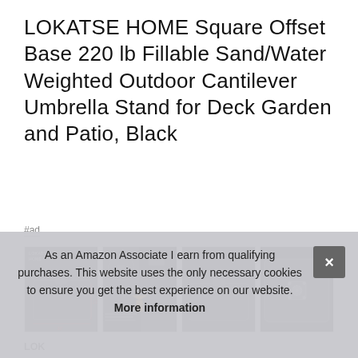LOKATSE HOME Square Offset Base 220 lb Fillable Sand/Water Weighted Outdoor Cantilever Umbrella Stand for Deck Garden and Patio, Black
#ad
[Figure (photo): Four product thumbnail images of the LOKATSE HOME umbrella base stand, showing: (1) product with dimensions diagram and brand logo, (2) installation steps with close-up images and an arrow, (3) plain product side view, (4) top-down view of the metal connector. All on dark backgrounds.]
LOK
wat
umb
heavy-duty plastic, and durable. 9"L x 7. Caution & care - follow
As an Amazon Associate I earn from qualifying purchases. This website uses the only necessary cookies to ensure you get the best experience on our website. More information